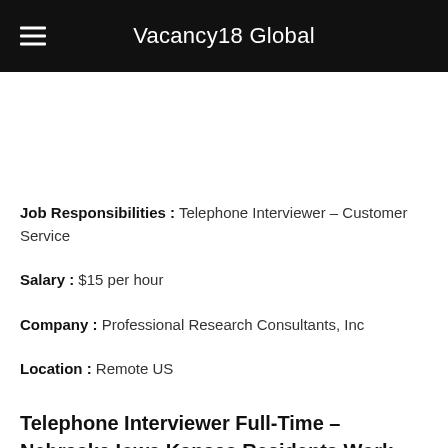Vacancy18 Global
Job Responsibilities : Telephone Interviewer – Customer Service
Salary : $15 per hour
Company : Professional Research Consultants, Inc
Location : Remote US
Telephone Interviewer Full-Time – Nebraska Iowa Kansas Residents Work from Home